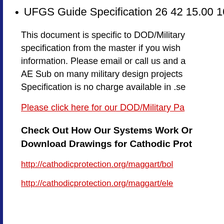UFGS Guide Specification 26 42 15.00 10
This document is specific to DOD/Military specification from the master if you wish information. Please email or call us and a AE Sub on many military design projects Specification is no charge available in .se
Please click here for our DOD/Military Pa
Check Out How Our Systems Work On
Download Drawings for Cathodic Prot
http://cathodicprotection.org/maggart/bol
http://cathodicprotection.org/maggart/ele